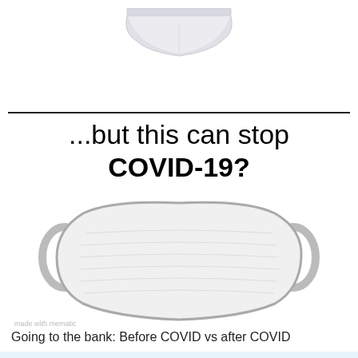[Figure (photo): White underwear/briefs visible from below, cropped at top of image]
...but this can stop COVID-19?
[Figure (photo): White cloth face mask with ear loops on white background]
made with mematic
Going to the bank: Before COVID vs after COVID
[Figure (photo): Bottom portion showing text 'going to the bank' in large bold handwritten style font on light blue background]